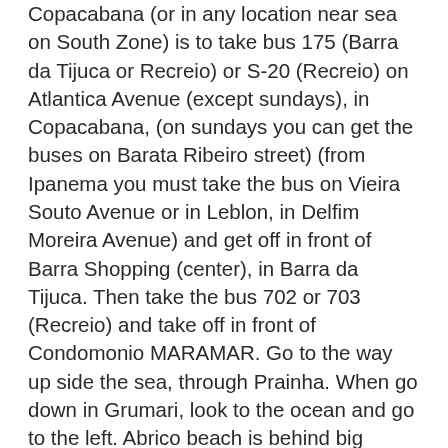Copacabana (or in any location near sea on South Zone) is to take bus 175 (Barra da Tijuca or Recreio) or S-20 (Recreio) on Atlantica Avenue (except sundays), in Copacabana, (on sundays you can get the buses on Barata Ribeiro street) (from Ipanema you must take the bus on Vieira Souto Avenue or in Leblon, in Delfim Moreira Avenue) and get off in front of Barra Shopping (center), in Barra da Tijuca. Then take the bus 702 or 703 (Recreio) and take off in front of Condomonio MARAMAR. Go to the way up side the sea, through Prainha. When go down in Grumari, look to the ocean and go to the left. Abrico beach is behind big stones. Instead of getting off the bus in front of MARAMAR residences you can do it in front of RECREIO SHOPPING CENTER (bus 175 also goes there, but keep your eye on which color line it belongs to (yellow or red) when you go back, better ask the driver if it goes to Ipanema!), and then take a taxi to Abrico Beach for approximately 10